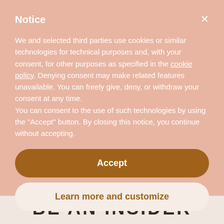Notice
We and selected third parties use cookies or similar technologies for technical purposes and, with your consent, for other purposes as specified in the cookie policy. Denying consent may make related features unavailable. You can freely give, deny, or withdraw your consent at any time.
You can consent to the use of such technologies by using the "Accept" button. By closing this notice, you continue without accepting.
Accept
Learn more and customize
BE AN INSIDER